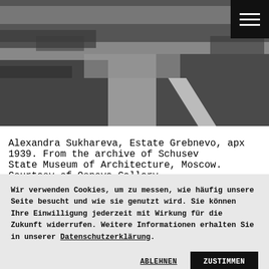[Figure (photo): Aerial black-and-white photograph of Estate Grebnevo, showing forested landscape with a path or road visible, approximately 1939.]
Alexandra Sukhareva, Estate Grebnevo, apx 1939. From the archive of Schusev State Museum of Architecture, Moscow. Courtesy of Osnova Gallery
Wir verwenden Cookies, um zu messen, wie häufig unsere Seite besucht und wie sie genutzt wird. Sie können Ihre Einwilligung jederzeit mit Wirkung für die Zukunft widerrufen. Weitere Informationen erhalten Sie in unserer Datenschutzerklärung.
ABLEHNEN
ZUSTIMMEN